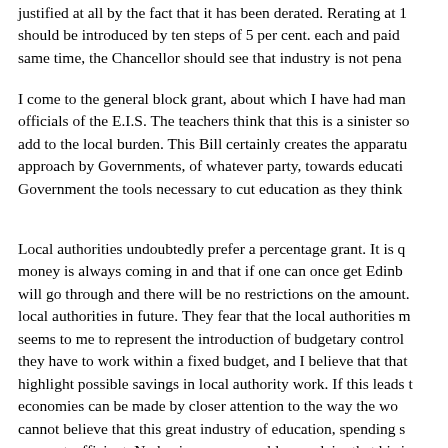justified at all by the fact that it has been derated. Rerating at 1 should be introduced by ten steps of 5 per cent. each and paid same time, the Chancellor should see that industry is not pena
I come to the general block grant, about which I have had man officials of the E.I.S. The teachers think that this is a sinister so add to the local burden. This Bill certainly creates the apparatu approach by Governments, of whatever party, towards educati Government the tools necessary to cut education as they think
Local authorities undoubtedly prefer a percentage grant. It is q money is always coming in and that if one can once get Edinb will go through and there will be no restrictions on the amount. local authorities in future. They fear that the local authorities m seems to me to represent the introduction of budgetary control they have to work within a fixed budget, and I believe that that highlight possible savings in local authority work. If this leads t economies can be made by closer attention to the way the wo cannot believe that this great industry of education, spending s per cent. efficient. No businessman would ever claim that his i degree.